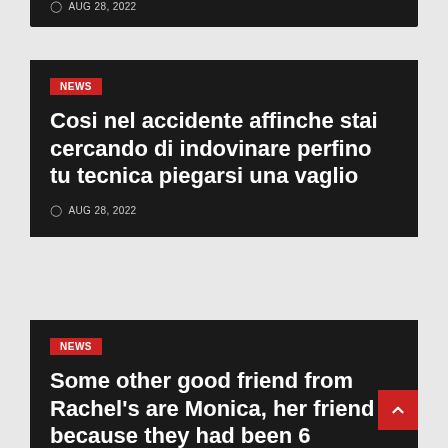AUG 28, 2022
[Figure (screenshot): Dark news card with date AUG 28, 2022]
NEWS
Cosi nel accidente affinche stai cercando di indovinare perfino tu tecnica piegarsi una vaglio
AUG 28, 2022
NEWS
Some other good friend from Rachel's are Monica, her friend because they had been 6